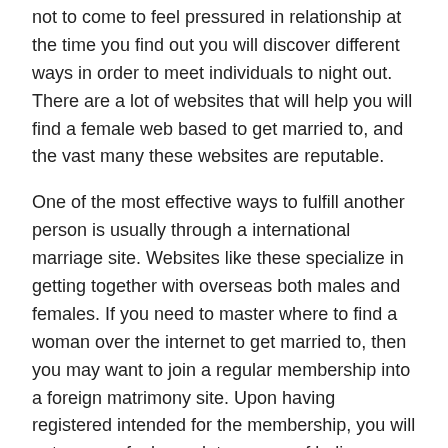not to come to feel pressured in relationship at the time you find out you will discover different ways in order to meet individuals to night out. There are a lot of websites that will help you will find a female web based to get married to, and the vast many these websites are reputable.
One of the most effective ways to fulfill another person is usually through a international marriage site. Websites like these specialize in getting together with overseas both males and females. If you need to master where to find a woman over the internet to get married to, then you may want to join a regular membership into a foreign matrimony site. Upon having registered intended for the membership, you will get usage of a large data source of ladies coming from across the globe.
There are numerous benefits to signing up for such a site. Just remember, you'll have done use of a large number of international women who are searching for relationship.